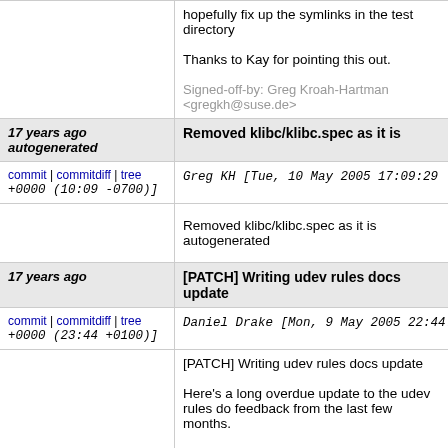hopefully fix up the symlinks in the test directory

Thanks to Kay for pointing this out.

Signed-off-by: Greg Kroah-Hartman <gregkh@suse.de>
17 years ago autogenerated
Removed klibc/klibc.spec as it is
commit | commitdiff | tree Greg KH [Tue, 10 May 2005 17:09:29 +0000 (10:09 -0700)]
Removed klibc/klibc.spec as it is autogenerated
17 years ago
[PATCH] Writing udev rules docs update
commit | commitdiff | tree Daniel Drake [Mon, 9 May 2005 22:44:27 +0000 (23:44 +0100)]
[PATCH] Writing udev rules docs update

Here's a long overdue update to the udev rules do feedback from the last few months.

Mostly updates to keep up with the new udev feat wording improvements. I added a section on rules excessive amount of mail I get about them. I remo it's out of date. Added another section about debu udevtest. Removed the thanks list because I hav